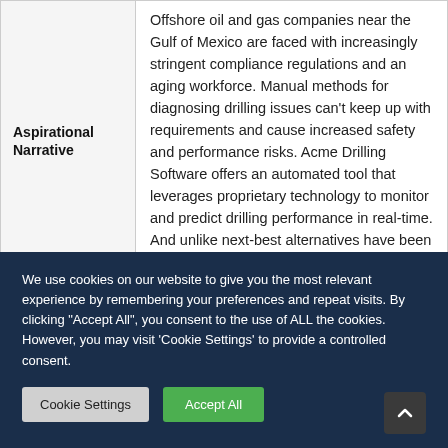| Aspirational Narrative | Offshore oil and gas companies near the Gulf of Mexico are faced with increasingly stringent compliance regulations and an aging workforce. Manual methods for diagnosing drilling issues can't keep up with requirements and cause increased safety and performance risks. Acme Drilling Software offers an automated tool that leverages proprietary technology to monitor and predict drilling performance in real-time. And unlike next-best alternatives have been tested and proven in the Gulf of |
We use cookies on our website to give you the most relevant experience by remembering your preferences and repeat visits. By clicking "Accept All", you consent to the use of ALL the cookies. However, you may visit 'Cookie Settings' to provide a controlled consent.